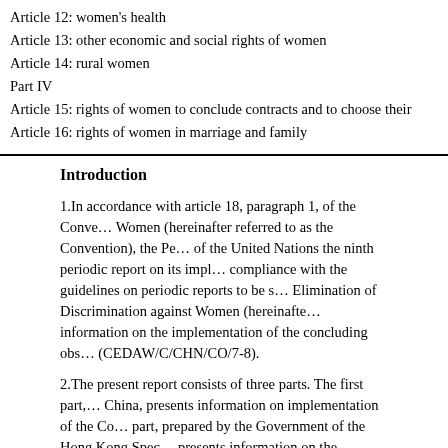Article 12: women's health
Article 13: other economic and social rights of women
Article 14: rural women
Part IV
Article 15: rights of women to conclude contracts and to choose their
Article 16: rights of women in marriage and family
Introduction
1.In accordance with article 18, paragraph 1, of the Convention on the Elimination of All Forms of Discrimination against Women (hereinafter referred to as the Convention), the People's Republic of China submits to the Secretary-General of the United Nations the ninth periodic report on its implementation of the Convention. The report is in compliance with the guidelines on periodic reports to be submitted by States parties, issued by the Committee on the Elimination of Discrimination against Women (hereinafter the Committee), and contains information on the implementation of the concluding observations of the Committee issued in 2014 (CEDAW/C/CHN/CO/7-8).
2.The present report consists of three parts. The first part, prepared by the Government of China, presents information on implementation of the Convention in the mainland of China. The second part, prepared by the Government of the Hong Kong Special Administrative Region of the People's Republic of China, presents information on the implementation of the Convention in that region. The third part covers the Macao Special Administrative Region of the People's Republic of China and presents information on the implementation of the Convention in that region.